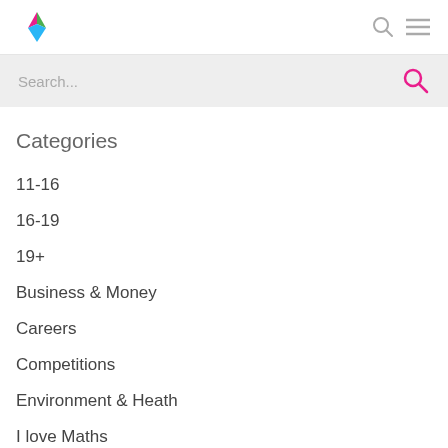Logo, Search icon, Menu icon
Search...
Categories
11-16
16-19
19+
Business & Money
Careers
Competitions
Environment & Heath
I love Maths